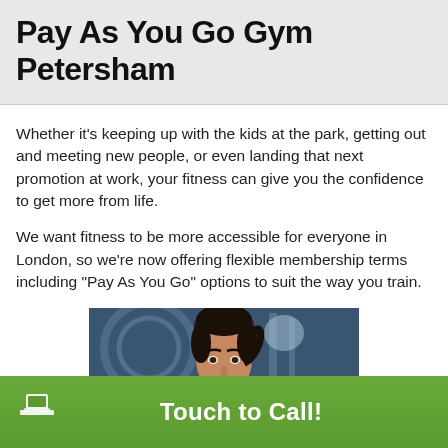Pay As You Go Gym Petersham
Whether it’s keeping up with the kids at the park, getting out and meeting new people, or even landing that next promotion at work, your fitness can give you the confidence to get more from life.
We want fitness to be more accessible for everyone in London, so we’re now offering flexible membership terms including “Pay As You Go” options to suit the way you train.
[Figure (photo): Woman in a gym setting, looking focused/determined, with gym equipment visible in the background]
Touch to Call!